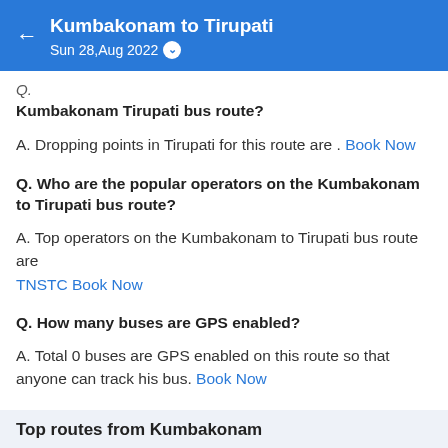Kumbakonam to Tirupati – Sun 28,Aug 2022
Q. (partial) ...dropping points in Tirupati on the Kumbakonam Tirupati bus route?
A. Dropping points in Tirupati for this route are . Book Now
Q. Who are the popular operators on the Kumbakonam to Tirupati bus route?
A. Top operators on the Kumbakonam to Tirupati bus route are TNSTC Book Now
Q. How many buses are GPS enabled?
A. Total 0 buses are GPS enabled on this route so that anyone can track his bus. Book Now
Top routes from Kumbakonam